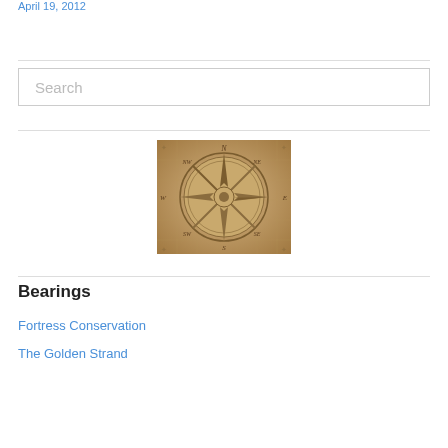April 19, 2012
[Figure (illustration): A vintage compass rose on aged parchment/map background, showing N, NE, E, SE, S, SW, W, NW directions with decorative star design]
Bearings
Fortress Conservation
The Golden Strand